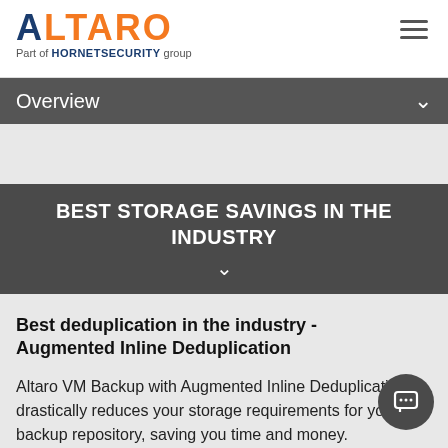[Figure (logo): Altaro logo with orange and blue text, subtitle 'Part of HORNETSECURITY group']
Overview
BEST STORAGE SAVINGS IN THE INDUSTRY
Best deduplication in the industry - Augmented Inline Deduplication
Altaro VM Backup with Augmented Inline Deduplication drastically reduces your storage requirements for your backup repository, saving you time and money.